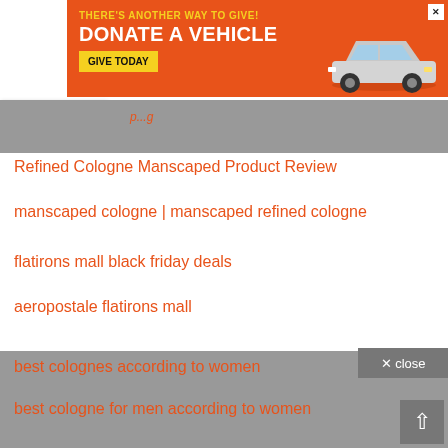[Figure (screenshot): Orange advertisement banner: THERE'S ANOTHER WAY TO GIVE! DONATE A VEHICLE GIVE TODAY with a car image]
Refined Cologne Manscaped Product Review
manscaped cologne | manscaped refined cologne
flatirons mall black friday deals
aeropostale flatirons mall
best colognes according to women
best cologne for men according to women
CashKeyChain| Maximizing Money with Bank Bonuses, Credit Card Promotions, Free Giveaways, Freebie, Investment Offers, Shopping Discount Offers , Restaurant Dining Deals, Referrals Deals , Financial Services & Travel Deals
dunkin donuts perks refer a friend